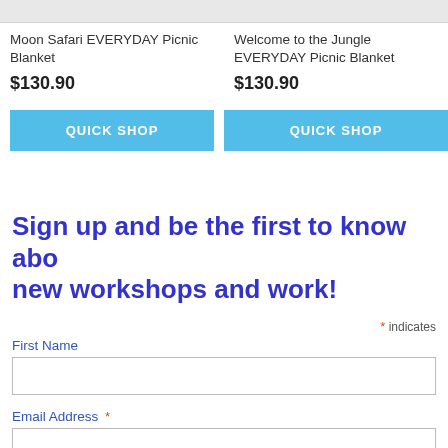Moon Safari EVERYDAY Picnic Blanket
$130.90
QUICK SHOP
Welcome to the Jungle EVERYDAY Picnic Blanket
$130.90
QUICK SHOP
Sign up and be the first to know about new workshops and work!
* indicates
First Name
Email Address *